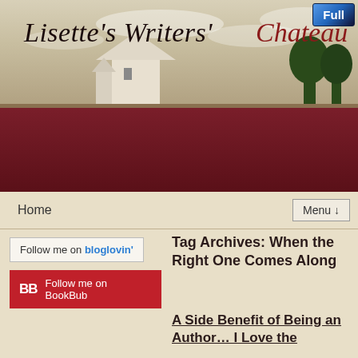[Figure (illustration): Blog header banner for Lisette's Writers' Chateau showing a chateau silhouette against a sky background with dark red/maroon banner area below]
Lisette's Writers' Chateau
Full
Home
Menu ↓
Follow me on bloglovin'
BB Follow me on BookBub
Tag Archives: When the Right One Comes Along
A Side Benefit of Being an Author… I Love the